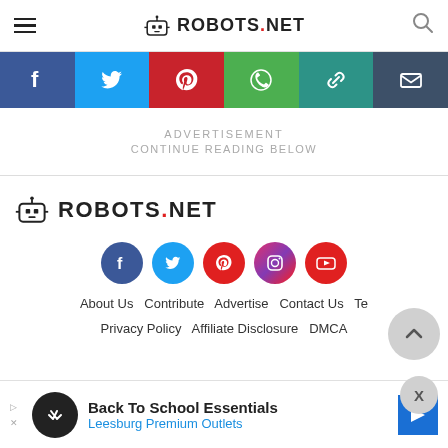ROBOTS.NET
[Figure (screenshot): Social sharing bar with Facebook, Twitter, Pinterest, WhatsApp, copy link, and email buttons]
ADVERTISEMENT
CONTINUE READING BELOW
[Figure (logo): ROBOTS.NET footer logo with robot icon]
[Figure (infographic): Footer social media circle icons: Facebook, Twitter, Pinterest, Instagram, YouTube]
About Us  Contribute  Advertise  Contact Us  Te  Privacy Policy  Affiliate Disclosure  DMCA
[Figure (screenshot): Bottom advertisement banner: Back To School Essentials - Leesburg Premium Outlets]